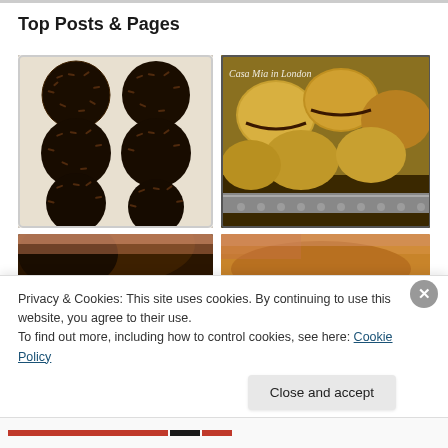Top Posts & Pages
[Figure (photo): Six chocolate brigadeiro balls covered in chocolate sprinkles arranged on a white tray, viewed from above]
[Figure (photo): Yellow/golden pastries or cookies piled on a silver tray, with watermark text 'Casa Mia in London']
[Figure (photo): Partial view of a dark brown food item, cropped]
[Figure (photo): Partial view of golden/caramel colored food item with a hand, cropped]
Privacy & Cookies: This site uses cookies. By continuing to use this website, you agree to their use.
To find out more, including how to control cookies, see here: Cookie Policy
Close and accept